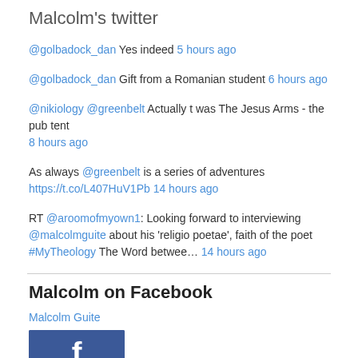Malcolm's twitter
@golbadock_dan Yes indeed 5 hours ago
@golbadock_dan Gift from a Romanian student 6 hours ago
@nikiology @greenbelt Actually t was The Jesus Arms - the pub tent 8 hours ago
As always @greenbelt is a series of adventures https://t.co/L407HuV1Pb 14 hours ago
RT @aroomofmyown1: Looking forward to interviewing @malcolmguite about his 'religio poetae', faith of the poet #MyTheology The Word betwee… 14 hours ago
Malcolm on Facebook
Malcolm Guite
[Figure (logo): Facebook logo/profile image in blue background]